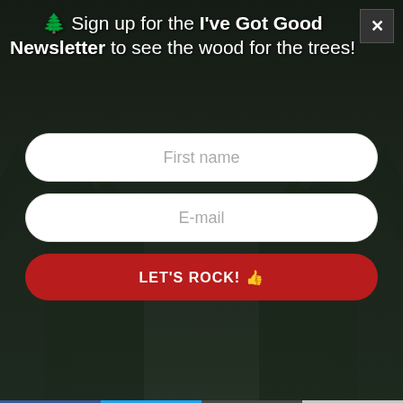[Figure (screenshot): Newsletter signup modal overlay on a forest background with dark trees. Contains a tree emoji, heading text, two input fields for first name and email, and a red CTA button. Below the modal are product listings for T-Shirt (Unisex) $22, The Whisper Mouse Pad $12.50, and Welcome to Twin Peaks Tote Bag. Bottom social sharing bar with Facebook, Twitter, Reddit, and more buttons.]
🌲 Sign up for the I've Got Good Newsletter to see the wood for the trees!
First name
E-mail
LET'S ROCK! 👍
T-Shirt (Unisex) $22
The Whisper Mouse Pad $12.50
Welcome to Twin Peaks Tote Bag